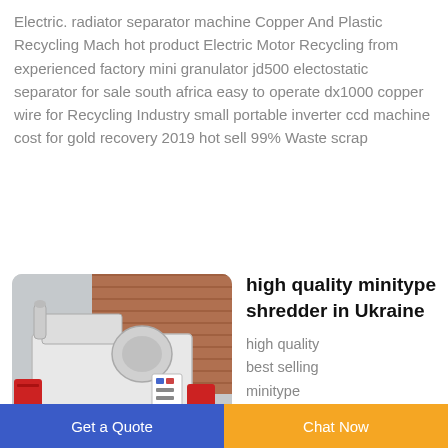Electric. radiator separator machine Copper And Plastic Recycling Mach hot product Electric Motor Recycling from experienced factory mini granulator jd500 electostatic separator for sale south africa easy to operate dx1000 copper wire for Recycling Industry small portable inverter ccd machine cost for gold recovery 2019 hot sell 99% Waste scrap
[Figure (photo): A large white industrial shredder/recycling machine photographed outdoors in a factory yard with brick wall background.]
high quality minitype shredder in Ukraine
high quality best selling minitype
Get a Quote   Chat Now